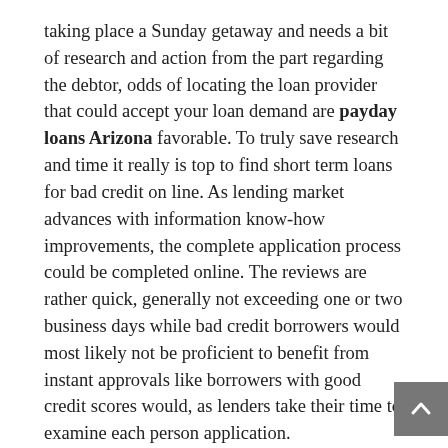taking place a Sunday getaway and needs a bit of research and action from the part regarding the debtor, odds of locating the loan provider that could accept your loan demand are payday loans Arizona favorable. To truly save research and time it really is top to find short term loans for bad credit on line. As lending market advances with information know-how improvements, the complete application process could be completed online. The reviews are rather quick, generally not exceeding one or two business days while bad credit borrowers would most likely not be proficient to benefit from instant approvals like borrowers with good credit scores would, as lenders take their time to examine each person application.
Getting Funds Is Straightforward
As soon as financing provider pre-approves you, it's time to submit the necessary behind citations and signal the loan agreement. The papers that lender might request you to submit to challenge your credibility the value of your loan